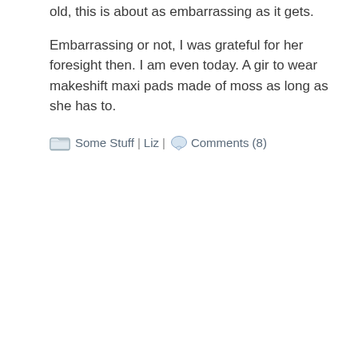old, this is about as embarrassing as it gets.
Embarrassing or not, I was grateful for her foresight then. I am even today. A gir to wear makeshift maxi pads made of moss as long as she has to.
Some Stuff | Liz | Comments (8)